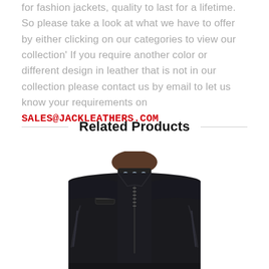for fashion jackets, quality to last for a lifetime. So please take a look at what we have to offer by either clicking on our categories to view our collection' If you require another color or different design in leather that is not in our collection please contact us by email to let us know your requirements on SALES@JACKLEATHERS.COM
Related Products
[Figure (photo): A man wearing a black leather jacket, shown from chest up. The jacket has a mandarin collar with silver snap buttons, a chest zipper pocket, and shoulder panel detailing.]